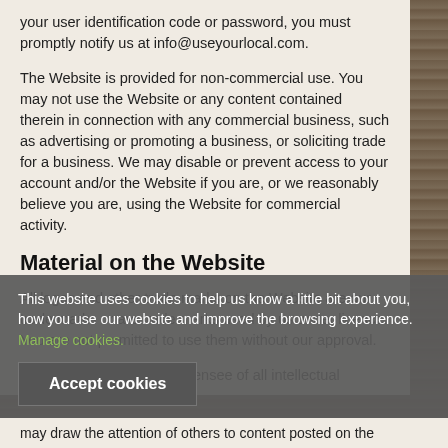your user identification code or password, you must promptly notify us at info@useyourlocal.com.
The Website is provided for non-commercial use. You may not use the Website or any content contained therein in connection with any commercial business, such as advertising or promoting a business, or soliciting trade for a business. We may disable or prevent access to your account and/or the Website if you are, or we reasonably believe you are, using the Website for commercial activity.
Material on the Website
All logos and other trade marks on the Website are our trade marks or are trade marks used by us under licence. You are not permitted to use them without our approval.
We are the owner or the licensee of all intellectual property
This website uses cookies to help us know a little bit about you, how you use our website and improve the browsing experience. Manage cookies.
Accept cookies
may draw the attention of others to content posted on the